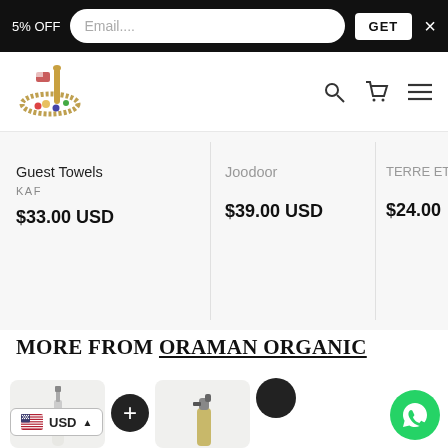5% OFF  Email....  GET  ×
[Figure (logo): Kaf brand logo with Arabic calligraphy and decorative snake motif]
Guest Towels
KAF
$33.00 USD
Joodoor
$39.00 USD
TERRE ET
$24.00
MORE FROM ORAMAN ORGANIC
[Figure (photo): Dropper bottle product image]
[Figure (photo): Spray bottle product image]
USD ▲